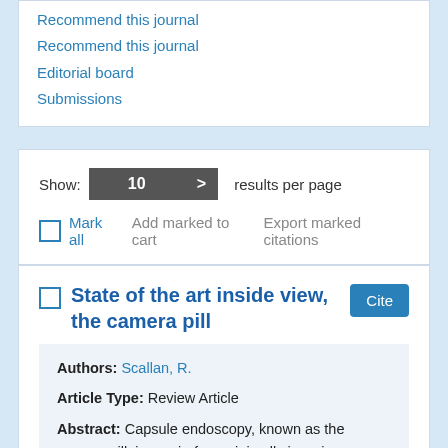Recommend this journal
Editorial board
Submissions
Show: 10 > results per page
Mark all  Add marked to cart  Export marked citations
State of the art inside view, the camera pill
Authors: Scallan, R.
Article Type: Review Article
Abstract: Capsule endoscopy, known as the camera pill, is a pain-free minimally invasive method of visualising the lining of the gastrointestinal tract and has now been in use for over ten years. It has become the gold standard in diagnostics for small bowel disorders but